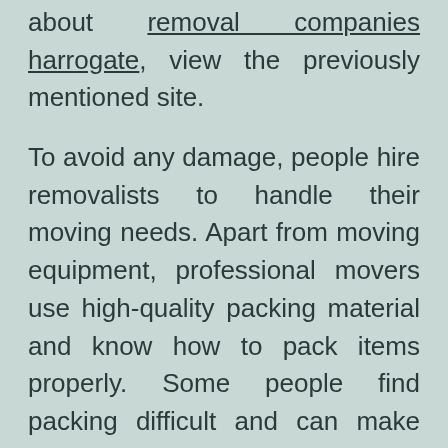about removal companies harrogate, view the previously mentioned site.
To avoid any damage, people hire removalists to handle their moving needs. Apart from moving equipment, professional movers use high-quality packing material and know how to pack items properly. Some people find packing difficult and can make errors. The items were packed too loosely or lightly, which can disrupt the entire moving process. You don't want to regret making this decision later. A moving expert can help you through the whole